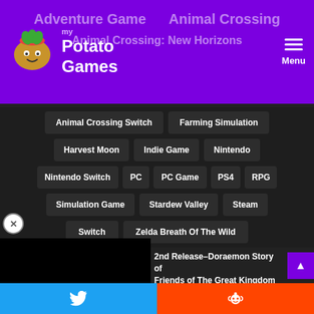My Potato Games — Menu
Adventure Game > Animal Crossing > Animal Crossing: New Horizons
Animal Crossing Switch
Farming Simulation
Harvest Moon
Indie Game
Nintendo
Nintendo Switch
PC
PC Game
PS4
RPG
Simulation Game
Stardew Valley
Steam
Switch
Zelda Breath Of The Wild
[Figure (other): Black video player area]
2nd Release–Doraemon Story of Friends of The Great Kingdom
Share on Twitter | Share on Reddit